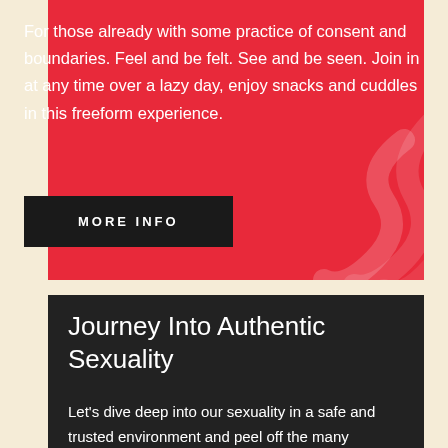For those already with some practice of consent and boundaries. Feel and be felt. See and be seen. Join in at any time over a lazy day, enjoy snacks and cuddles in this freeform experience.
MORE INFO
Journey Into Authentic Sexuality
Let's dive deep into our sexuality in a safe and trusted environment and peel off the many layers that limit our authentic sensual selves.